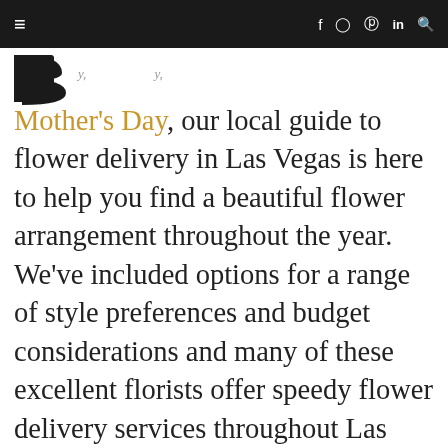≡  f  ⊙  ℗  in  🔍
[Figure (logo): Large stylized letter B logo in black with partial italic text to the right]
Mother's Day, our local guide to flower delivery in Las Vegas is here to help you find a beautiful flower arrangement throughout the year. We've included options for a range of style preferences and budget considerations and many of these excellent florists offer speedy flower delivery services throughout Las Vegas, Nevada, and also the to the surrounding areas, 7-days a week. Enjoy!